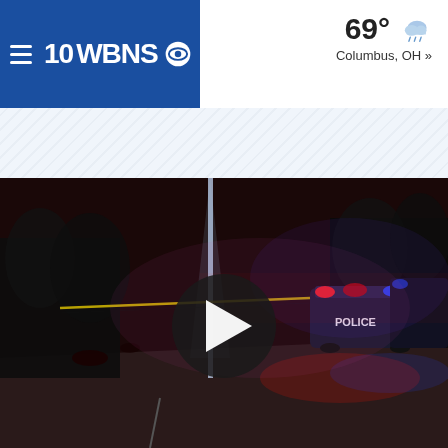10WBNS CBS — 69° Columbus, OH »
[Figure (screenshot): Night-time police crime scene video thumbnail showing a road with police cruiser lights (red and blue), crime scene tape, and a play button overlay. Taken from 10WBNS news website.]